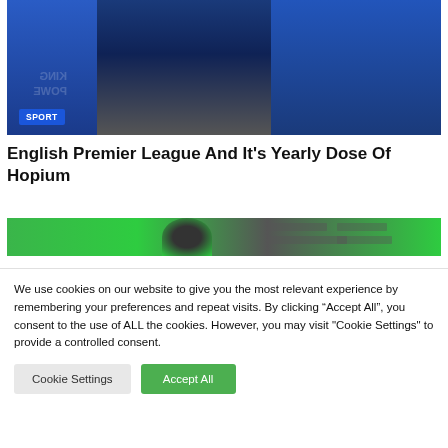[Figure (photo): Three men wearing blue King Power Leicester City football jerseys clapping/celebrating on a pitch]
English Premier League And It's Yearly Dose Of Hopium
[Figure (photo): Person with dark hair against a green background, partial view]
We use cookies on our website to give you the most relevant experience by remembering your preferences and repeat visits. By clicking “Accept All”, you consent to the use of ALL the cookies. However, you may visit "Cookie Settings" to provide a controlled consent.
Cookie Settings
Accept All